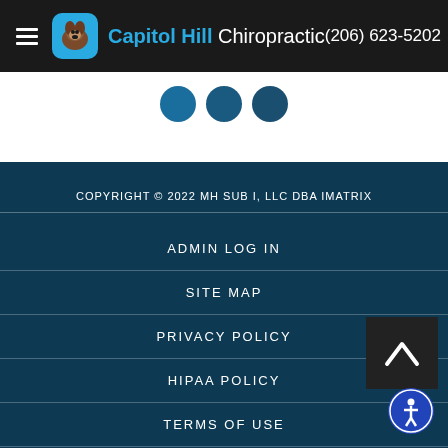Capitol Hill Chiropractic  (206) 623-5202
[Figure (logo): Capitol Hill Chiropractic logo with dog image and blue background, followed by brand name and phone number]
[Figure (illustration): Three social media icons (circular, teal/dark blue) partially visible at top of white band]
COPYRIGHT © 2022 MH SUB I, LLC DBA IMATRIX
ADMIN LOG IN
SITE MAP
PRIVACY POLICY
HIPAA POLICY
TERMS OF USE